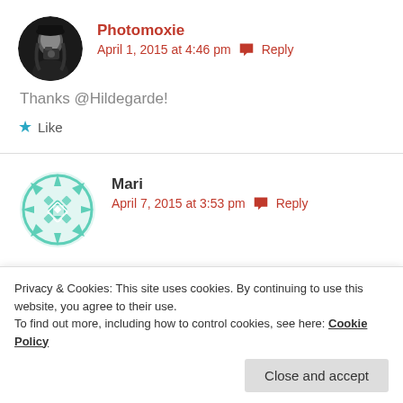[Figure (photo): Circular avatar photo of Photomoxie — black and white photo of a woman with a camera]
Photomoxie
April 1, 2015 at 4:46 pm  Reply
Thanks @Hildegarde!
Like
[Figure (illustration): Teal/mint colored snowflake/geometric avatar icon for Mari]
Mari
April 7, 2015 at 3:53 pm  Reply
Privacy & Cookies: This site uses cookies. By continuing to use this website, you agree to their use.
To find out more, including how to control cookies, see here: Cookie Policy
Close and accept